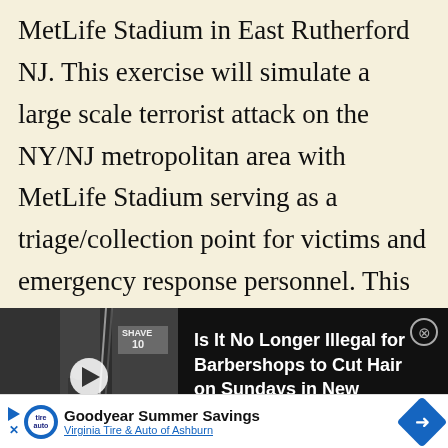MetLife Stadium in East Rutherford NJ. This exercise will simulate a large scale terrorist attack on the NY/NJ metropolitan area with MetLife Stadium serving as a triage/collection point for victims and emergency response personnel. This will be a large scale event with numerous federal, state, county and local agencies participating. It should be very similar in size and scope to the Operation Red
[Figure (other): Black and white video thumbnail of a barbershop street scene with a play button overlay, alongside dark overlay text reading 'Is It No Longer Illegal for Barbershops to Cut Hair on Sundays in New York?' with a close button]
[Figure (other): Bottom banner advertisement for Goodyear Summer Savings from Virginia Tire & Auto of Ashburn, with play/close controls, logo, title text, and a blue diamond arrow button]